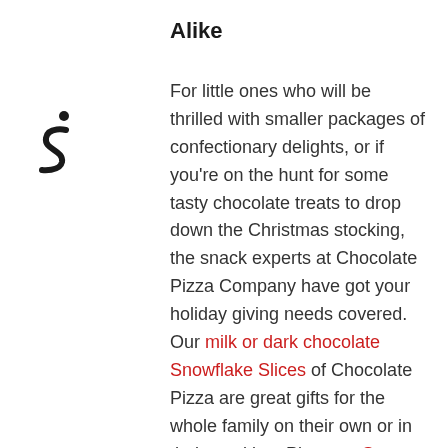Alike
[Figure (logo): Scribd or similar branded logo mark — a stylized 'S' with a dot above it in black]
For little ones who will be thrilled with smaller packages of confectionary delights, or if you're on the hunt for some tasty chocolate treats to drop down the Christmas stocking, the snack experts at Chocolate Pizza Company have got your holiday giving needs covered. Our milk or dark chocolate Snowflake Slices of Chocolate Pizza are great gifts for the whole family on their own or in their stocking. Plus, our Snow Buddies Stocking Stuffer in packs with three velvety crème sandwich cookies coated in